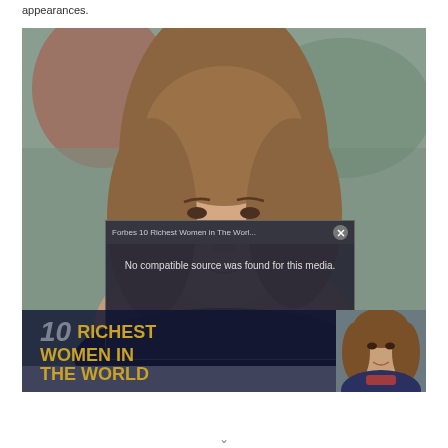appearances.
[Figure (photo): Close-up portrait photo of a woman with shoulder-length light brown hair, smiling slightly, against a blurred outdoor background.]
[Figure (screenshot): Video overlay popup showing title 'Forbes 10 Richest Women in The Worl...' with message 'No compatible source was found for this media.' and close (X) button. Below is a video thumbnail showing '10 RICHEST WOMEN IN THE WORLD' text in gold and gray with an image of another woman on the right side.]